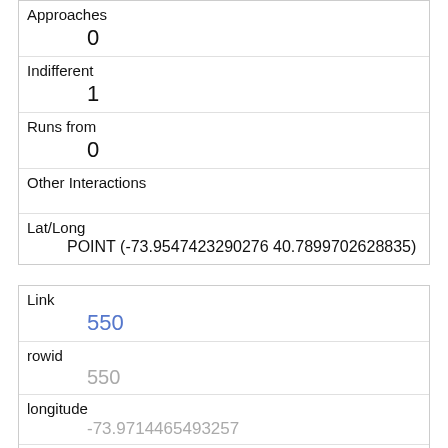| Approaches | 0 |
| Indifferent | 1 |
| Runs from | 0 |
| Other Interactions |  |
| Lat/Long | POINT (-73.9547423290276 40.7899702628835) |
| Link | 550 |
| rowid | 550 |
| longitude | -73.9714465493257 |
| latitude | 40.7772135587308 |
| Unique Squirrel ID | 14C-PM-1006-02 |